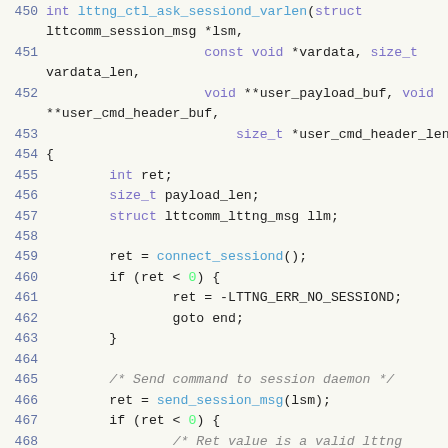[Figure (screenshot): Source code listing in C, lines 450-470, showing a function lttng_ctl_ask_sessiond_varlen with parameters and body including connect_sessiond(), send_session_msg() calls and error handling with goto.]